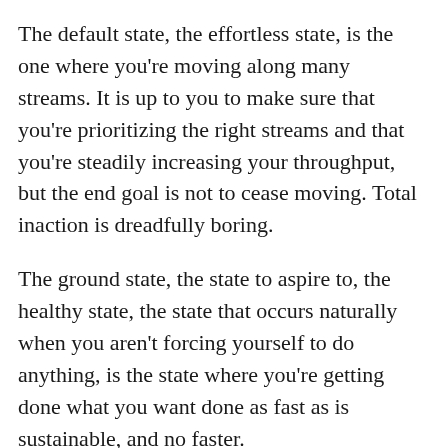The default state, the effortless state, is the one where you're moving along many streams. It is up to you to make sure that you're prioritizing the right streams and that you're steadily increasing your throughput, but the end goal is not to cease moving. Total inaction is dreadfully boring.
The ground state, the state to aspire to, the healthy state, the state that occurs naturally when you aren't forcing yourself to do anything, is the state where you're getting done what you want done as fast as is sustainable, and no faster.
The ground state is in motion.
Frontpage